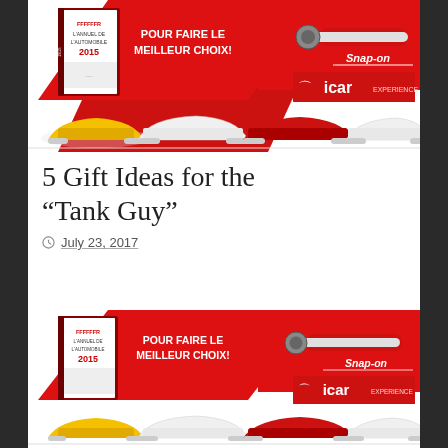[Figure (illustration): Advertisement banner showing a book 'L'Annuel de L'Automobile 2015' with text 'POUR FAIRE LE MEILLEUR CHOIX!' on a red diagonal shape, a Snap-on ratchet tool on a red triangle, an iCar Experience logo, and four sports cars (yellow Corvette, white Lamborghini, red Ferrari, white Nissan GT-R) in the top portion]
5 Gift Ideas for the “Tank Guy”
July 23, 2017
[Figure (illustration): Identical advertisement banner repeated: book 'L'Annuel de L'Automobile 2015' with 'POUR FAIRE LE MEILLEUR CHOIX!', Snap-on ratchet, iCar Experience logo, and four sports cars at bottom of page]